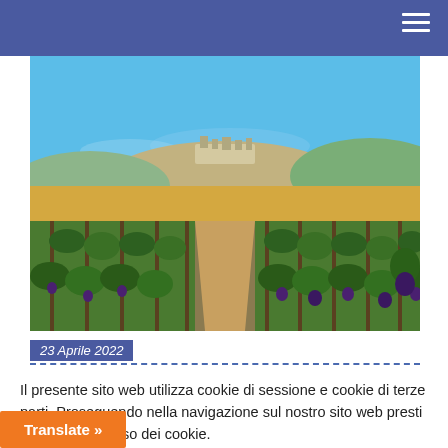Navigation bar with hamburger menu
[Figure (photo): Tuscany vineyard landscape with rows of grapevines, rolling hills, a hilltop town, and blue sky]
23 Aprile 2022
Il presente sito web utilizza cookie di sessione e cookie di terze parti. Proseguendo nella navigazione sul nostro sito web presti il consenso all'uso dei cookie.
Cookie Settings
Accetta tutto
Translate »